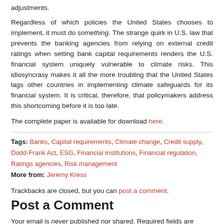adjustments.
Regardless of which policies the United States chooses to implement, it must do something. The strange quirk in U.S. law that prevents the banking agencies from relying on external credit ratings when setting bank capital requirements renders the U.S. financial system uniquely vulnerable to climate risks. This idiosyncrasy makes it all the more troubling that the United States lags other countries in implementing climate safeguards for its financial system. It is critical, therefore, that policymakers address this shortcoming before it is too late.
The complete paper is available for download here.
Tags: Banks, Capital requirements, Climate change, Credit supply, Dodd-Frank Act, ESG, Financial institutions, Financial regulation, Ratings agencies, Risk management
More from: Jeremy Kress
Trackbacks are closed, but you can post a comment.
Post a Comment
Your email is never published nor shared. Required fields are marked *